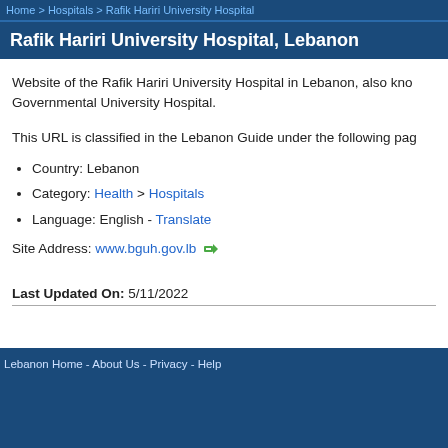Home > Hospitals > Rafik Hariri University Hospital
Rafik Hariri University Hospital, Lebanon
Website of the Rafik Hariri University Hospital in Lebanon, also known as the Governmental University Hospital.
This URL is classified in the Lebanon Guide under the following pages:
Country: Lebanon
Category: Health > Hospitals
Language: English - Translate
Site Address: www.bguh.gov.lb
Last Updated On: 5/11/2022
Lebanon Home - About Us - Privacy - Help